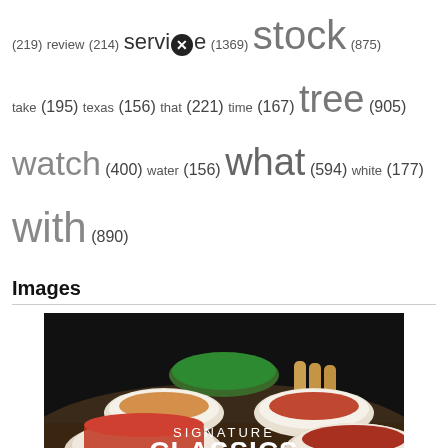(219) review (214) service (1369) stock (875) take (195) texas (156) that (221) time (167) tree (905) watch (400) water (156) what (594) white (177) with (890)
Images
[Figure (photo): Restaurant food spread showing multiple pasta dishes on a dark background with text overlay reading 'SIGNATURE CLASSICS'. An iSpo.tv watermark is visible in the bottom right corner.]